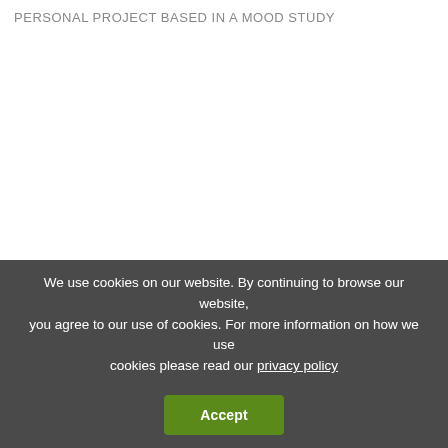PERSONAL PROJECT BASED IN A MOOD STUDY
We use cookies on our website. By continuing to browse our website, you agree to our use of cookies. For more information on how we use cookies please read our privacy policy
Accept